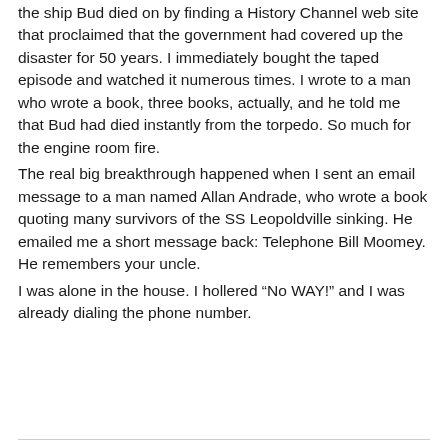the ship Bud died on by finding a History Channel web site that proclaimed that the government had covered up the disaster for 50 years. I immediately bought the taped episode and watched it numerous times. I wrote to a man who wrote a book, three books, actually, and he told me that Bud had died instantly from the torpedo. So much for the engine room fire.
The real big breakthrough happened when I sent an email message to a man named Allan Andrade, who wrote a book quoting many survivors of the SS Leopoldville sinking. He emailed me a short message back: Telephone Bill Moomey. He remembers your uncle.
I was alone in the house. I hollered “No WAY!” and I was already dialing the phone number.